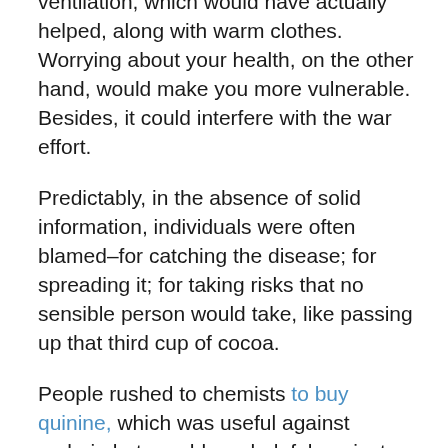ventilation, which would have actually helped, along with warm clothes. Worrying about your health, on the other hand, would make you more vulnerable. Besides, it could interfere with the war effort.
Predictably, in the absence of solid information, individuals were often blamed–for catching the disease; for spreading it; for taking risks that no sensible person would take, like passing up that third cup of cocoa.
People rushed to chemists to buy quinine, which was useful against malaria but roughly as helpful against the flu as turkey feathers.
We can–and we might as well–laugh, but remember that there weren't any antibiotics yet, which could have been useful against flu's secondary infections. And there were no antivirals. The first vaccine for the flu wasn't licensed